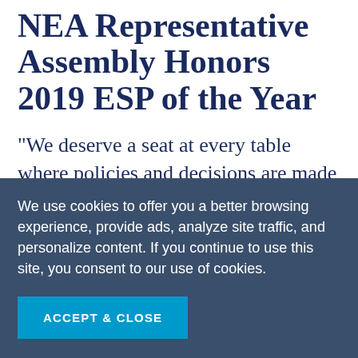NEA Representative Assembly Honors 2019 ESP of the Year
"We deserve a seat at every table where policies and decisions are made that impact our work, our students and our communities that we serve."
We use cookies to offer you a better browsing experience, provide ads, analyze site traffic, and personalize content. If you continue to use this site, you consent to our use of cookies.
ACCEPT & CLOSE